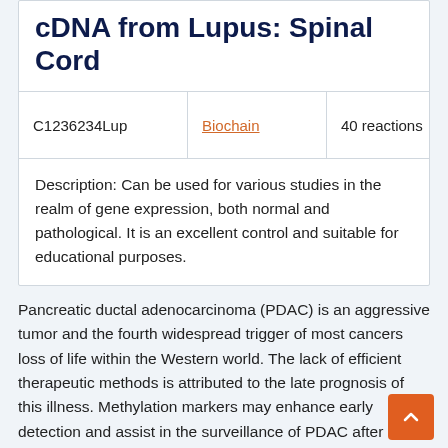cDNA from Lupus: Spinal Cord
|  |  |  |  |
| --- | --- | --- | --- |
| C1236234Lup | Biochain | 40 reactions | EUR 668 |
| Description: Can be used for various studies in the realm of gene expression, both normal and pathological. It is an excellent control and suitable for educational purposes. |  |  |  |
Pancreatic ductal adenocarcinoma (PDAC) is an aggressive tumor and the fourth widespread trigger of most cancers loss of life within the Western world. The lack of efficient therapeutic methods is attributed to the late prognosis of this illness. Methylation markers may enhance early detection and assist in the surveillance of PDAC after remedy. Analysis of hypermethylation within the tumor tissue and tumor-derived exosomes may assist to determine new therapeutic methods and comments within the understanding of the